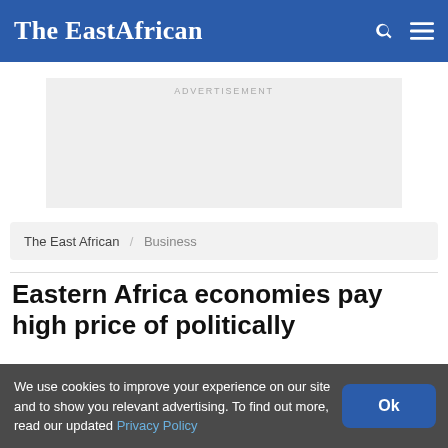The EastAfrican
ADVERTISEMENT
The East African / Business
Eastern Africa economies pay high price of politically
We use cookies to improve your experience on our site and to show you relevant advertising. To find out more, read our updated Privacy Policy